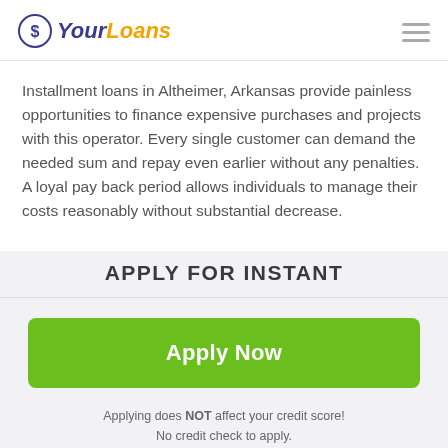YourLoans
Installment loans in Altheimer, Arkansas provide painless opportunities to finance expensive purchases and projects with this operator. Every single customer can demand the needed sum and repay even earlier without any penalties. A loyal pay back period allows individuals to manage their costs reasonably without substantial decrease.
APPLY FOR INSTANT
Apply Now
Applying does NOT affect your credit score!
No credit check to apply.